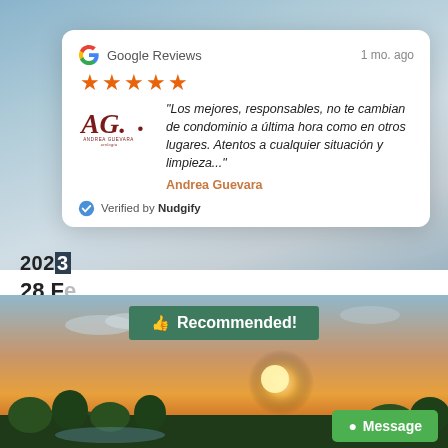[Figure (screenshot): Top background photo showing ocean waves]
Google Reviews  1 mo. ago
★★★★★
"Los mejores, responsables, no te cambian de condominio a última hora como en otros lugares. Atentos a cualquier situación y limpieza..."
Andrea Guevara
Verified by Nudgify
202
28 F
It wo
READ MORE
[Figure (photo): Sunset landscape photo with tropical scenery]
👍 Recommended!
Message